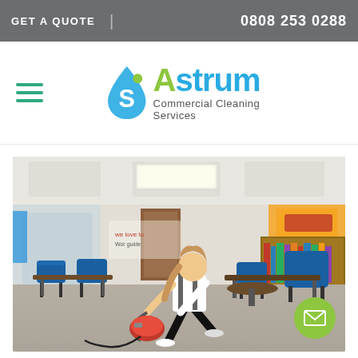GET A QUOTE  |  0808 253 0288
[Figure (logo): Astrum Commercial Cleaning Services logo with stylized S droplet icon in blue/green]
[Figure (photo): A female cleaner vacuuming the carpet of a school classroom with blue chairs and student desks, bookshelf in background, red vacuum cleaner on the floor]